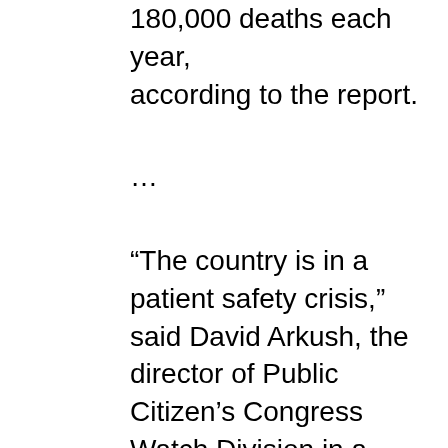180,000 deaths each year, according to the report.
…
“The country is in a patient safety crisis,” said David Arkush, the director of Public Citizen’s Congress Watch Division in a statement. “The only workable solution to preventing unnecessary deaths and injuries is to combine much more patient-protective hospital protocols with much better scrutiny by hospitals